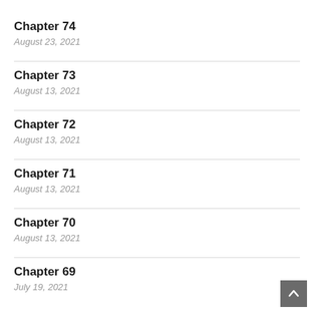Chapter 74
August 23, 2021
Chapter 73
August 13, 2021
Chapter 72
August 13, 2021
Chapter 71
August 13, 2021
Chapter 70
August 13, 2021
Chapter 69
July 19, 2021